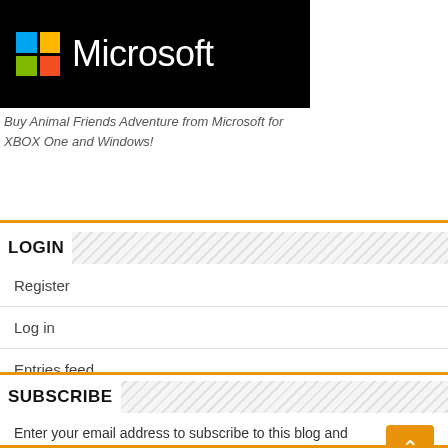[Figure (logo): Microsoft logo on black background with colorful Windows grid icon and white Microsoft text]
Buy Animal Friends Adventure from Microsoft for XBOX One and Windows!
LOGIN
Register
Log in
Entries feed
Comments feed
WordPress.org
SUBSCRIBE
Enter your email address to subscribe to this blog and receive notifications of new posts by email.